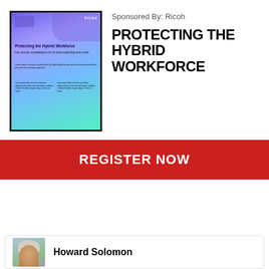[Figure (illustration): Document cover thumbnail for 'Protecting the Hybrid Workforce' with purple-to-teal gradient background and person working at laptop]
Sponsored By: Ricoh
PROTECTING THE HYBRID WORKFORCE
REGISTER NOW
[Figure (photo): Headshot photo of Howard Solomon]
Howard Solomon